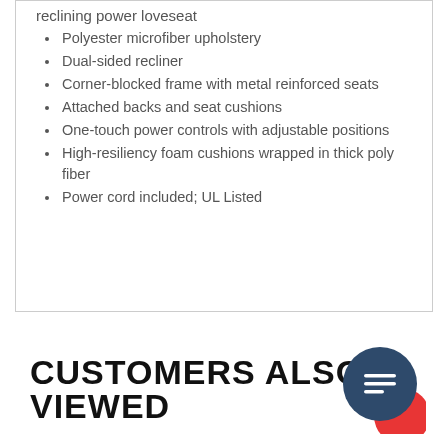reclining power loveseat
Polyester microfiber upholstery
Dual-sided recliner
Corner-blocked frame with metal reinforced seats
Attached backs and seat cushions
One-touch power controls with adjustable positions
High-resiliency foam cushions wrapped in thick poly fiber
Power cord included; UL Listed
CUSTOMERS ALSO VIEWED
[Figure (illustration): Chat button with dark navy circle containing a message icon, and a red circle partially behind it]